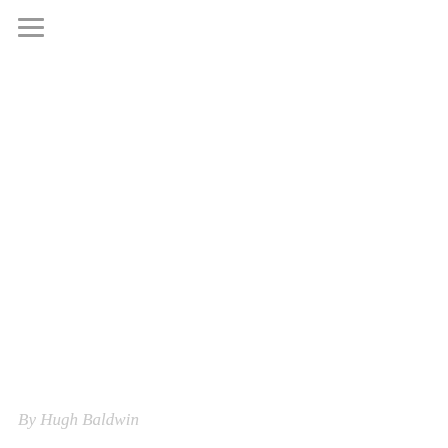[Figure (other): Hamburger menu icon — three horizontal gray lines stacked vertically]
By Hugh Baldwin